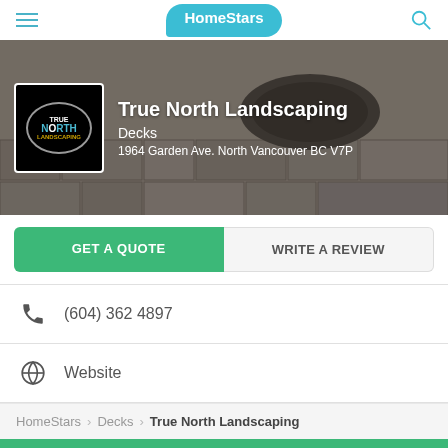HomeStars
[Figure (screenshot): Hero banner with stone patio background and True North Landscaping logo]
True North Landscaping
Decks
1964 Garden Ave. North Vancouver BC V7P
GET A QUOTE
WRITE A REVIEW
(604) 362 4897
Website
HomeStars > Decks > True North Landscaping
GET A QUOTE